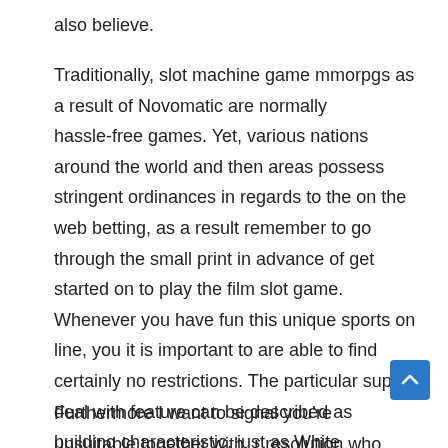also believe.
Traditionally, slot machine game mmorpgs as a result of Novomatic are normally hassle-free games. Yet, various nations around the world and then areas possess stringent ordinances in regards to the on the web betting, as a result remember to go through the small print in advance of get started on to play the film slot game. Whenever you have fun this unique sports on line, you it is important to are able to find certainly no restrictions. The particular superb deal with feature can be described as building characteristic, just as White Individuals rotate on the Previous Lair associated with Ra, filled up with scribed Hieroglyphics, Scarabs plus Sarcophaguses spread across the reels. Your guide in Ra applications because the spread out, which inturn for a start may help you get a good degree of money.
Furthermore I want to signal you’re unsuitable together with your resolution who Decorative originates of your Egyptian